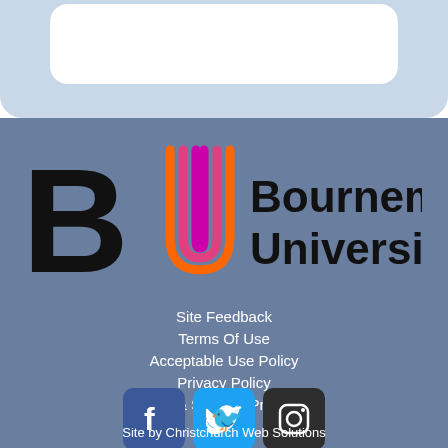[Figure (logo): Bournemouth University logo with BU monogram in black, orange, pink/magenta gradient and text 'Bournemouth University']
Site Feedback
Terms Of Use
Acceptable Use Policy
Privacy Policy
Safety & Security Precedent
[Figure (other): Social media icons: Facebook, Twitter, Instagram]
Site by Christchurch Web Solutions